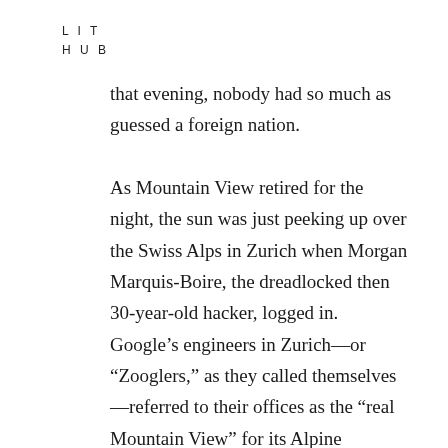L I T
H U B
that evening, nobody had so much as guessed a foreign nation.

As Mountain View retired for the night, the sun was just peeking up over the Swiss Alps in Zurich when Morgan Marquis-Boire, the dreadlocked then 30-year-old hacker, logged in. Google’s engineers in Zurich—or “Zooglers,” as they called themselves—referred to their offices as the “real Mountain View” for its Alpine backdrop. But